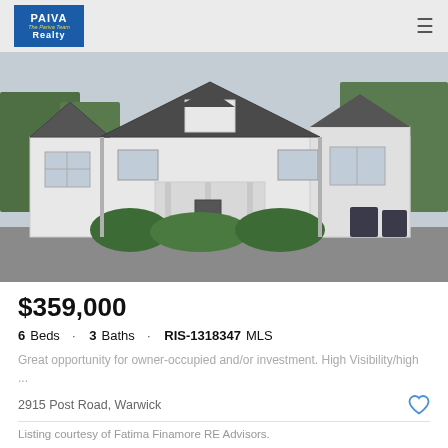PAIVA The Pariva Team Realty
[Figure (photo): Exterior photo of a white colonial-style house with dark roof, front porch, bushes, and trees in background. Driveway visible in foreground.]
$359,000
6 Beds · 3 Baths · RIS-1318347 MLS
Great opportunity for owner-occupied and/or investment. High Visibility/high ...
2915 Post Road, Warwick
Listing courtesy of Fatima Finamore RE Advisors.